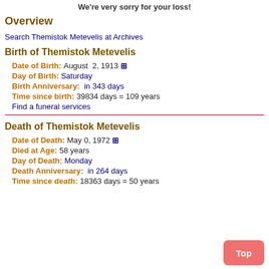We're very sorry for your loss!
Overview
Search Themistok Metevelis at Archives
Birth of Themistok Metevelis
Date of Birth: August 2, 1913 [+]
Day of Birth: Saturday
Birth Anniversary: in 343 days
Time since birth: 39834 days = 109 years
Find a funeral services
Death of Themistok Metevelis
Date of Death: May 0, 1972 [+]
Died at Age: 58 years
Day of Death: Monday
Death Anniversary: in 264 days
Time since death: 18363 days = 50 years